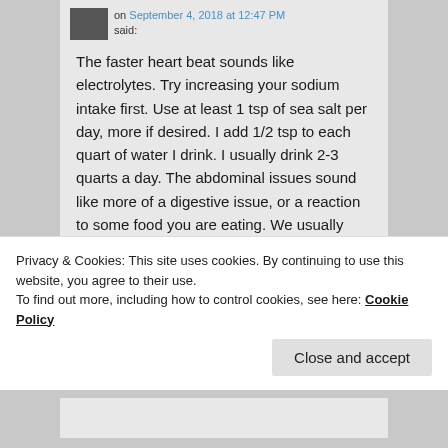on September 4, 2018 at 12:47 PM said:
The faster heart beat sounds like electrolytes. Try increasing your sodium intake first. Use at least 1 tsp of sea salt per day, more if desired. I add 1/2 tsp to each quart of water I drink. I usually drink 2-3 quarts a day. The abdominal issues sound like more of a digestive issue, or a reaction to some food you are eating. We usually recommend sticking to just beef and water for 30 days. If the beef is too lean where you live, then you will need to add butter. Try this and see if it makes any
Privacy & Cookies: This site uses cookies. By continuing to use this website, you agree to their use.
To find out more, including how to control cookies, see here: Cookie Policy
Close and accept